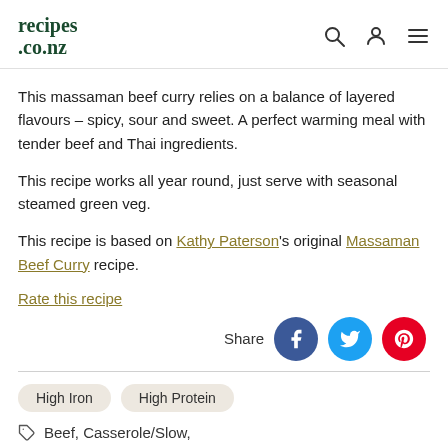recipes.co.nz
This massaman beef curry relies on a balance of layered flavours – spicy, sour and sweet. A perfect warming meal with tender beef and Thai ingredients.
This recipe works all year round, just serve with seasonal steamed green veg.
This recipe is based on Kathy Paterson's original Massaman Beef Curry recipe.
Rate this recipe
[Figure (other): Share buttons for Facebook, Twitter, and Pinterest]
High Iron
High Protein
Beef, Casserole/Slow,